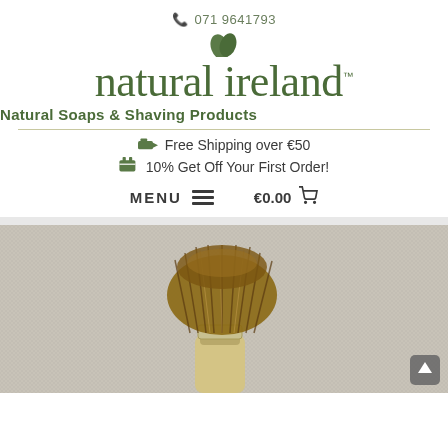071 9641793
natural ireland™
Natural Soaps & Shaving Products
Free Shipping over €50
10% Get Off Your First Order!
MENU   €0.00
[Figure (photo): Close-up photo of a shaving brush with brown bristles, resting on a light grey fabric background]